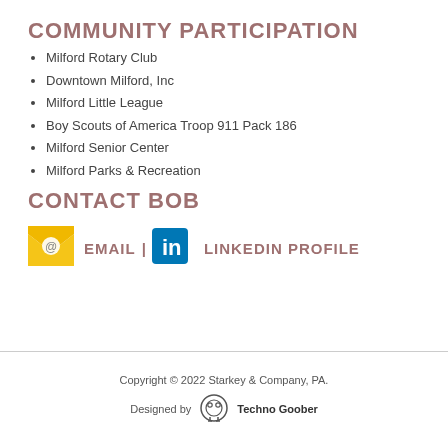COMMUNITY PARTICIPATION
Milford Rotary Club
Downtown Milford, Inc
Milford Little League
Boy Scouts of America Troop 911 Pack 186
Milford Senior Center
Milford Parks & Recreation
CONTACT BOB
[Figure (infographic): Email icon (yellow envelope with @ symbol) and LinkedIn icon (blue square with 'in') with links labeled EMAIL | LINKEDIN PROFILE]
Copyright © 2022 Starkey & Company, PA.
Designed by Techno Goober